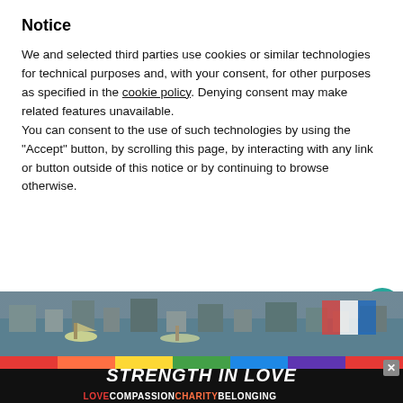Notice
We and selected third parties use cookies or similar technologies for technical purposes and, with your consent, for other purposes as specified in the cookie policy. Denying consent may make related features unavailable.
You can consent to the use of such technologies by using the “Accept” button, by scrolling this page, by interacting with any link or button outside of this notice or by continuing to browse otherwise.
Reject
Accept
Learn more and customize
[Figure (screenshot): Heart/favourite icon button (teal circle), share icon, number 2 counter, and WHAT'S NEXT panel showing '5 Must-Visit Museums in...' with a thumbnail image]
[Figure (photo): Aerial/street view photo of a city waterfront with boats and buildings]
[Figure (infographic): Advertisement banner: 'STRENGTH IN LOVE' in white bold italic text on dark background with rainbow colors. Bottom row reads LOVE COMPASSION CHARITY BELONGING in colored text. X close button visible.]